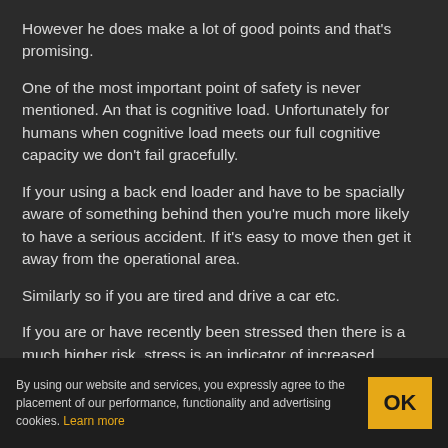However he does make a lot of good points and that's promising.
One of the most important point of safety is never mentioned. An that is cognitive load. Unfortunately for humans when cognitive load meets our full cognitive capacity we don't fail gracefully.
If your using a back end loader and have to be spacially aware of something behind then you're much more likely to have a serious accident. If it's easy to move then get it away from the operational area.
Similarly so if you are tired and drive a car etc.
If you are or have recently been stressed then there is a much higher risk, stress is an indicator of increased
By using our website and services, you expressly agree to the placement of our performance, functionality and advertising cookies. Learn more